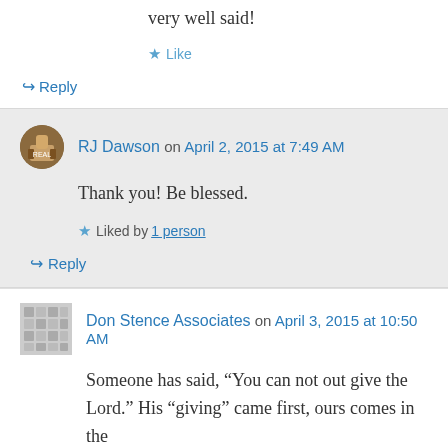very well said!
★ Like
↪ Reply
RJ Dawson on April 2, 2015 at 7:49 AM
Thank you! Be blessed.
★ Liked by 1 person
↪ Reply
Don Stence Associates on April 3, 2015 at 10:50 AM
Someone has said, “You can not out give the Lord.” His “giving” came first, ours comes in the manner of giving thanks though actions and